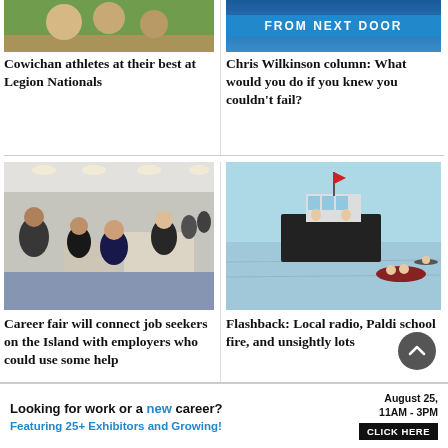[Figure (photo): Athletes photo at Legion Nationals]
Cowichan athletes at their best at Legion Nationals
[Figure (photo): From Next Door column banner with blue background]
Chris Wilkinson column: What would you do if you knew you couldn't fail?
[Figure (photo): Career fair interior with job seekers and employers at tables]
Career fair will connect job seekers on the Island with employers who could use some help
[Figure (photo): Boat on water with smaller boats following, local flashback photo]
Flashback: Local radio, Paldi school fire, and unsightly lots
Looking for work or a new career? August 25, 11AM - 3PM Featuring 25+ Exhibitors and Growing! CLICK HERE